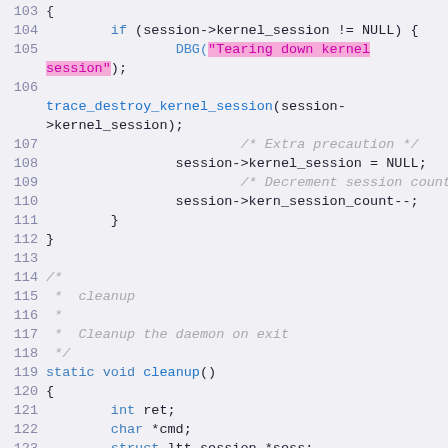Source code listing, lines 103-124, showing C code with syntax highlighting including a pink-highlighted string 'Tearing down kernel session' in a DBG call, followed by trace_destroy_kernel_session, session management code, a block comment about cleanup, static void cleanup() function definition, and local variable declarations.